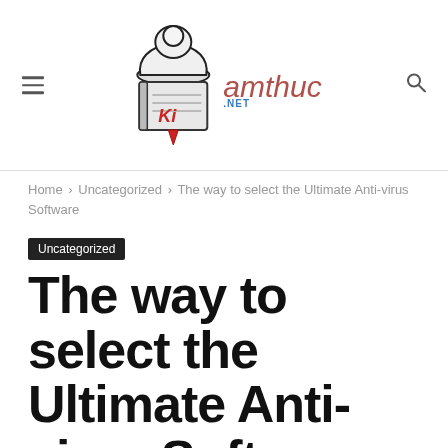[Figure (logo): Kiamthuc.net logo with chef hat and book illustration, site name in stylized text]
Home > Uncategorized > The way to select the Ultimate Anti-virus Software
Uncategorized
The way to select the Ultimate Anti-virus Software